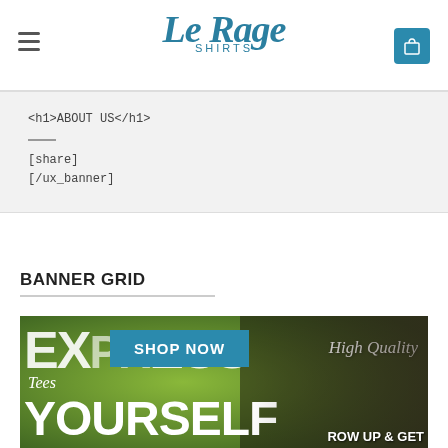[Figure (logo): Le Rage Shirts logo in teal/blue handwritten style font with SHIRTS subtitle]
<h1>ABOUT US</h1>
[share]
[/ux_banner]
BANNER GRID
[Figure (photo): Banner image showing 'EXPRESS YOURSELF' text overlay with 'High Quality Tees' and 'SHOP NOW' button over a green tropical background with a man in a t-shirt on the right side reading 'GROW UP & GET']